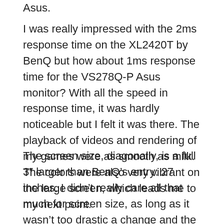Asus.
I was really impressed with the 2ms response time on the XL2420T by BenQ but how about 1ms response time for the VS278Q-P Asus monitor? With all the speed in response time, it was hardly noticeable but I felt it was there. The playback of videos and rendering of my games were as smooth as milk. The colors were also very vibrant on the large screen, which leads me to my next point.
The screen size, diagonally, is a full 3″ larger than BenQ's entry: 27 inches. I didn't really care all that much for screen size, as long as it wasn't too drastic a change and the monitor actually worked for my